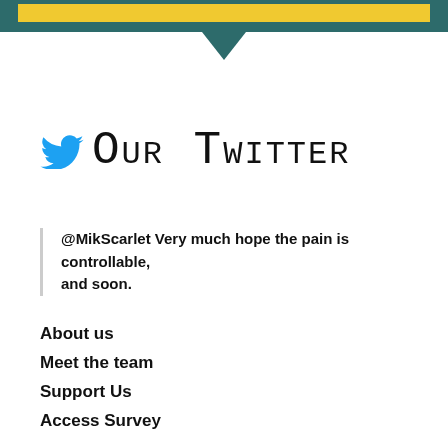[Figure (other): Teal header bar with yellow accent bar and downward-pointing teal arrow/chevron below]
Our Twitter
@MikScarlet Very much hope the pain is controllable, and soon.
About us
Meet the team
Support Us
Access Survey